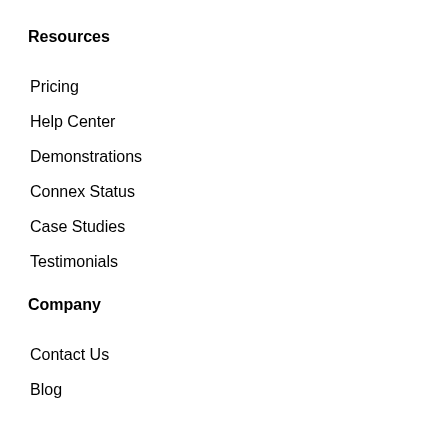Resources
Pricing
Help Center
Demonstrations
Connex Status
Case Studies
Testimonials
Company
Contact Us
Blog